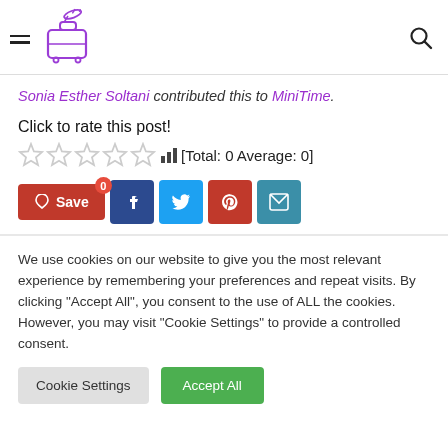MiniTime website header with hamburger menu, logo, and search icon
Sonia Esther Soltani contributed this to MiniTime.
Click to rate this post!
[Total: 0 Average: 0]
[Figure (other): Social sharing buttons: Save (0), Facebook, Twitter, Pinterest, Email]
We use cookies on our website to give you the most relevant experience by remembering your preferences and repeat visits. By clicking "Accept All", you consent to the use of ALL the cookies. However, you may visit "Cookie Settings" to provide a controlled consent.